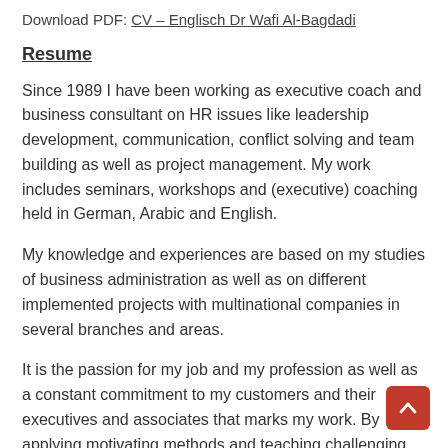Download PDF: CV – Englisch Dr Wafi Al-Bagdadi
Resume
Since 1989 I have been working as executive coach and business consultant on HR issues like leadership development, communication, conflict solving and team building as well as project management. My work includes seminars, workshops and (executive) coaching held in German, Arabic and English.
My knowledge and experiences are based on my studies of business administration as well as on different implemented projects with multinational companies in several branches and areas.
It is the passion for my job and my profession as well as a constant commitment to my customers and their executives and associates that marks my work. By applying motivating methods and teaching challenging topics I support people in their process of reassessing their attitudes and values. This